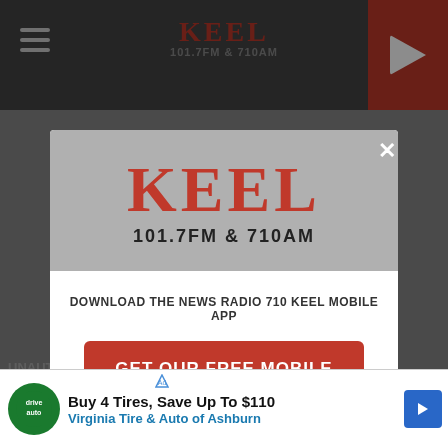KEEL 101.7FM & 710AM
[Figure (screenshot): KEEL radio station website screenshot with modal popup overlay. Modal contains KEEL logo (101.7FM & 710AM), download prompt text, red button for free mobile app, and Amazon Alexa listen option. Bottom has tire advertisement banner.]
DOWNLOAD THE NEWS RADIO 710 KEEL MOBILE APP
GET OUR FREE MOBILE APP
Also listen on: amazon alexa
Buy 4 Tires, Save Up To $110
Virginia Tire & Auto of Ashburn